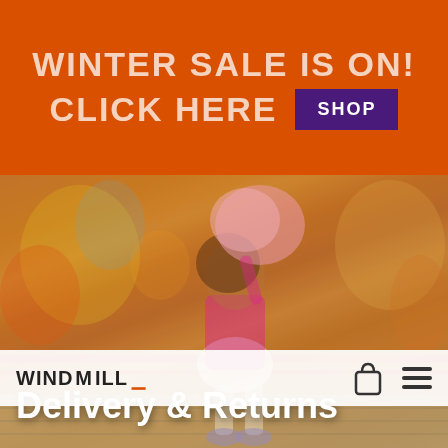[Figure (screenshot): Orange promotional banner with text 'WINTER SALE IS ON! CLICK HERE' and a purple SHOP button]
[Figure (photo): Website screenshot showing Windmill brand navbar over a hero photo of a young girl in a pink cardigan and white skirt holding pink cotton candy at a fairground, with 'Delivery & Returns' overlaid in white bold text at the bottom]